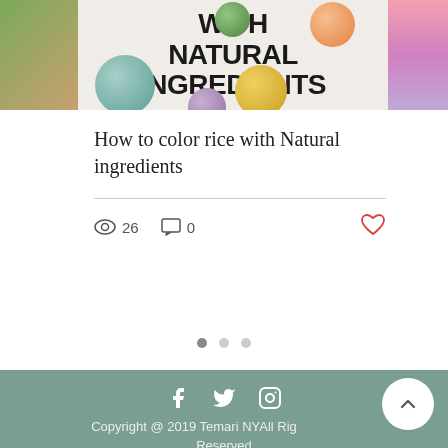[Figure (photo): Blog post card image showing colored rice balls (teal, yellow, purple, orange, green) on a white background with bold text overlay reading 'WITH NATURAL INGREDIENTS'. Left side shows green/brown texture, right side shows pink/purple flowers.]
How to color rice with Natural ingredients
26 views · 0 comments · Like
[Figure (infographic): Pagination dots: three dots, first filled/dark, second and third light gray]
Copyright @ 2019 Temari NYAll Rights Reserved
Privacy Policy
Terms and Condition